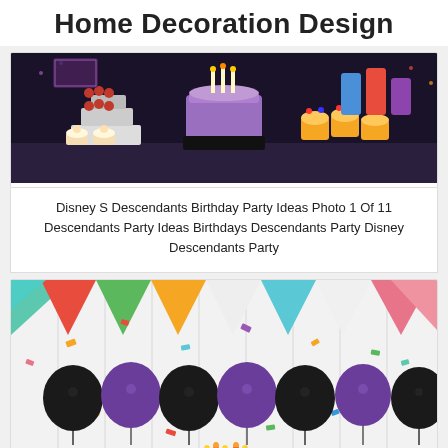Home Decoration Design
[Figure (photo): A Disney Descendants themed birthday party dessert table with a purple frosted cake, red macarons on tiered stand, cupcakes, and themed decorations against a dark background.]
Disney S Descendants Birthday Party Ideas Photo 1 Of 11 Descendants Party Ideas Birthdays Descendants Party Disney Descendants Party
[Figure (photo): Party backdrop with colorful triangular bunting flags (red, green, yellow, blue, pink) and alternating black and purple balloons against a white wooden plank background with colorful confetti.]
Buy Hello Party Descendants Birthday Party Supplies